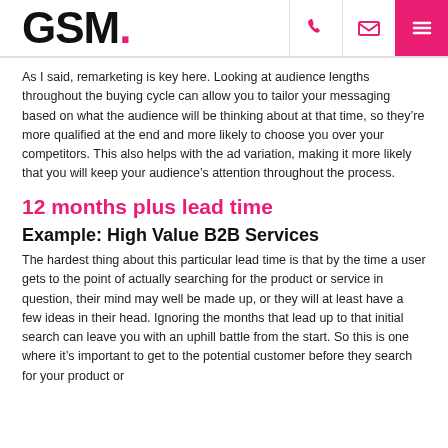GSM.
As I said, remarketing is key here. Looking at audience lengths throughout the buying cycle can allow you to tailor your messaging based on what the audience will be thinking about at that time, so they’re more qualified at the end and more likely to choose you over your competitors. This also helps with the ad variation, making it more likely that you will keep your audience’s attention throughout the process.
12 months plus lead time
Example: High Value B2B Services
The hardest thing about this particular lead time is that by the time a user gets to the point of actually searching for the product or service in question, their mind may well be made up, or they will at least have a few ideas in their head. Ignoring the months that lead up to that initial search can leave you with an uphill battle from the start. So this is one where it’s important to get to the potential customer before they search for your product or